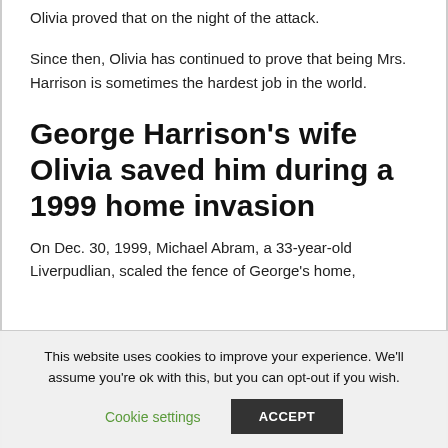Olivia proved that on the night of the attack.
Since then, Olivia has continued to prove that being Mrs. Harrison is sometimes the hardest job in the world.
George Harrison's wife Olivia saved him during a 1999 home invasion
On Dec. 30, 1999, Michael Abram, a 33-year-old Liverpudlian, scaled the fence of George's home,
This website uses cookies to improve your experience. We'll assume you're ok with this, but you can opt-out if you wish.
Cookie settings  ACCEPT